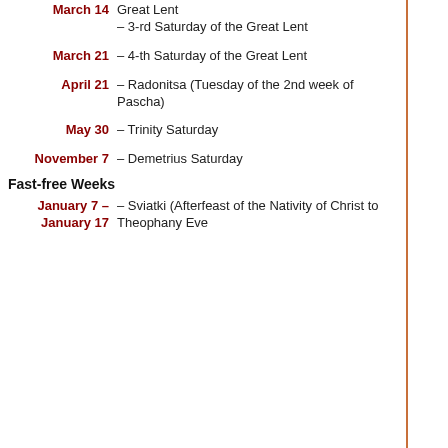| Date | Description |
| --- | --- |
| March 14 | – 3-rd Saturday of the Great Lent |
| March 21 | – 4-th Saturday of the Great Lent |
| April 21 | – Radonitsa (Tuesday of the 2nd week of Pascha) |
| May 30 | – Trinity Saturday |
| November 7 | – Demetrius Saturday |
Fast-free Weeks
| Date | Description |
| --- | --- |
| January 7 – January 17 | – Sviatki (Afterfeast of the Nativity of Christ to Theophany Eve) |